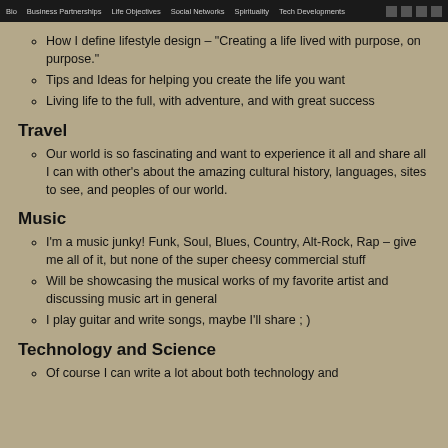Bio | Business Partnerships | Life Objectives | Social Networks | Spirituality | Tech Developments
How I define lifestyle design – "Creating a life lived with purpose, on purpose."
Tips and Ideas for helping you create the life you want
Living life to the full, with adventure, and with great success
Travel
Our world is so fascinating and want to experience it all and share all I can with other's about the amazing cultural history, languages, sites to see, and peoples of our world.
Music
I'm a music junky! Funk, Soul, Blues, Country, Alt-Rock, Rap – give me all of it, but none of the super cheesy commercial stuff
Will be showcasing the musical works of my favorite artist and discussing music art in general
I play guitar and write songs, maybe I'll share ; )
Technology and Science
Of course I can write a lot about both technology and